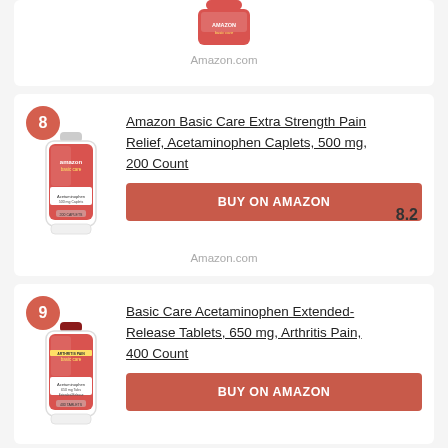[Figure (photo): Partial top of a product bottle/container (cropped at top of page)]
Amazon.com
8 - Amazon Basic Care Extra Strength Pain Relief, Acetaminophen Caplets, 500 mg, 200 Count — Score: 8.2
[Figure (photo): Amazon Basic Care Extra Strength Pain Relief Acetaminophen Caplets 500mg 200 Count bottle]
BUY ON AMAZON
Amazon.com
9 - Basic Care Acetaminophen Extended-Release Tablets, 650 mg, Arthritis Pain, 400 Count — Score: 8.1
[Figure (photo): Basic Care Acetaminophen Extended-Release Tablets 650mg Arthritis Pain 400 Count bottle]
BUY ON AMAZON